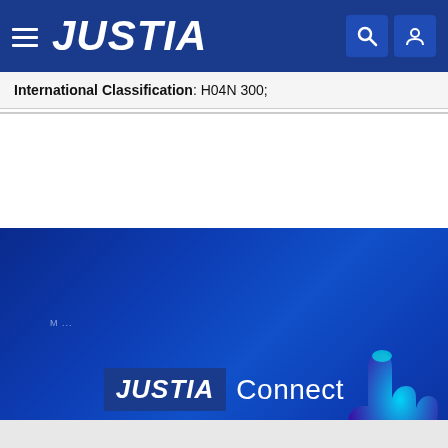JUSTIA
International Classification: H04N 300;
[Figure (screenshot): Justia Connect promotional banner advertisement with dark blue gradient background, 'JUSTIA Connect' logo text, a glowing hand pointing illustration, and a red 'Go Pro' button]